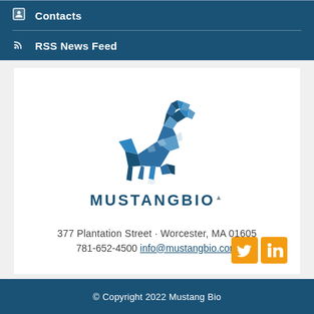Contacts
RSS News Feed
[Figure (logo): Mustang Bio geometric horse logo with text MUSTANGBIO]
377 Plantation Street · Worcester, MA 01605
781-652-4500  info@mustangbio.com
[Figure (other): Twitter and LinkedIn social media icons in orange]
© Copyright 2022 Mustang Bio